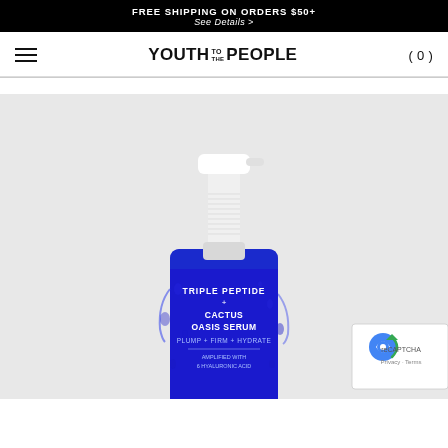FREE SHIPPING ON ORDERS $50+
See Details >
[Figure (logo): Youth To The People brand logo with hamburger menu and cart icon (0)]
[Figure (photo): Blue spray bottle of Triple Peptide + Cactus Oasis Serum on light grey background, with water droplets on the bottle. Label reads: TRIPLE PEPTIDE + CACTUS OASIS SERUM, PLUMP + FIRM + HYDRATE, AMPLIFIED WITH [text cut off]]